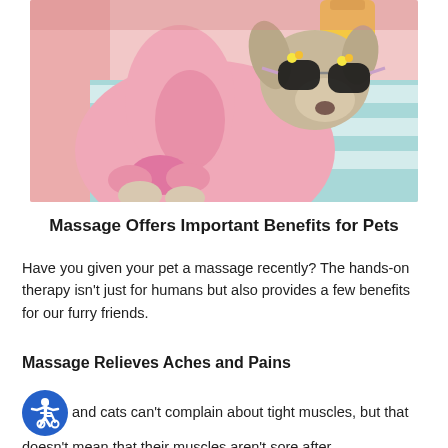[Figure (photo): A small dog wearing sunglasses and a pink bathrobe, lying on a spa-style striped blue and white towel, in a relaxed spa setting with a pink curtain backdrop.]
Massage Offers Important Benefits for Pets
Have you given your pet a massage recently? The hands-on therapy isn't just for humans but also provides a few benefits for our furry friends.
Massage Relieves Aches and Pains
and cats can't complain about tight muscles, but that doesn't mean that their muscles aren't sore after